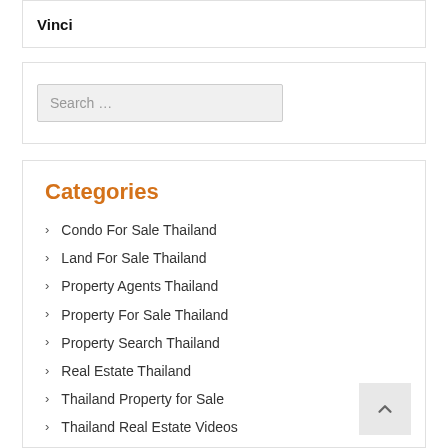Vinci
Search …
Categories
Condo For Sale Thailand
Land For Sale Thailand
Property Agents Thailand
Property For Sale Thailand
Property Search Thailand
Real Estate Thailand
Thailand Property for Sale
Thailand Real Estate Videos